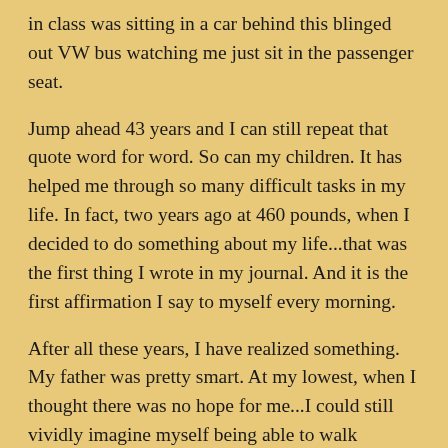in class was sitting in a car behind this blinged out VW bus watching me just sit in the passenger seat.
Jump ahead 43 years and I can still repeat that quote word for word. So can my children. It has helped me through so many difficult tasks in my life. In fact, two years ago at 460 pounds, when I decided to do something about my life...that was the first thing I wrote in my journal. And it is the first affirmation I say to myself every morning.
After all these years, I have realized something. My father was pretty smart. At my lowest, when I thought there was no hope for me...I could still vividly imagine myself being able to walk through the mall with my daughter without losing breath and having to sit. I ardently desired to be in a more healthy body, oh did I ardently desire this! And then those last two: sincerely believe and then action. I last...